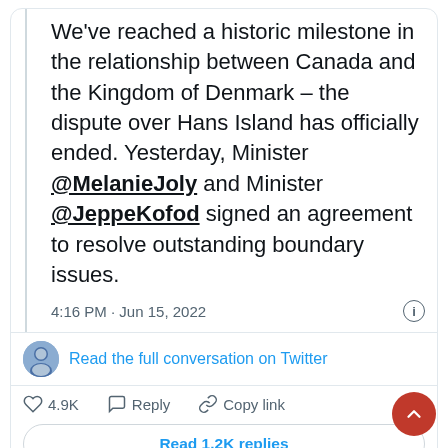[Figure (screenshot): Screenshot of a tweet card. Tweet text reads: 'We've reached a historic milestone in the relationship between Canada and the Kingdom of Denmark – the dispute over Hans Island has officially ended. Yesterday, Minister @MelanieJoly and Minister @JeppeKofod signed an agreement to resolve outstanding boundary issues.' Timestamp: 4:16 PM · Jun 15, 2022. Includes a 'Read the full conversation on Twitter' link with avatar, like count of 4.9K, Reply, Copy link actions, and a 'Read 1.2K replies' button.]
Canadian military troops later responded by planting a bottle of their own brandy.